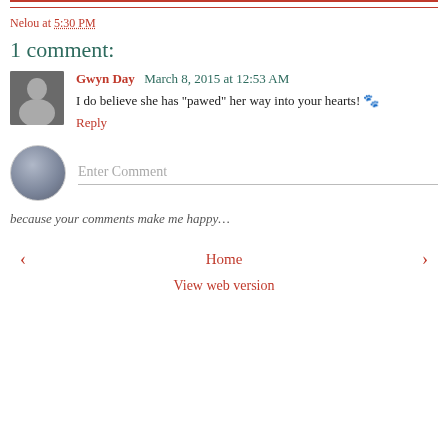Nelou at 5:30 PM
1 comment:
Gwyn Day  March 8, 2015 at 12:53 AM
I do believe she has "pawed" her way into your hearts! 🐾
Reply
Enter Comment
because your comments make me happy…
‹   Home   ›
View web version